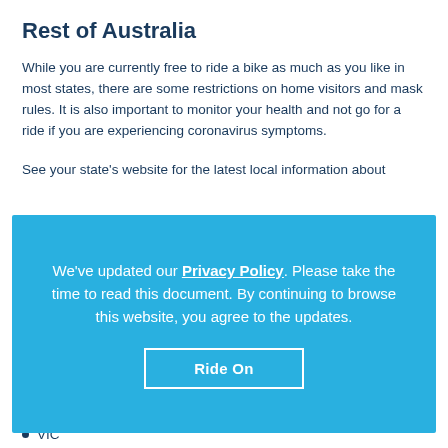Rest of Australia
While you are currently free to ride a bike as much as you like in most states, there are some restrictions on home visitors and mask rules. It is also important to monitor your health and not go for a ride if you are experiencing coronavirus symptoms.
See your state's website for the latest local information about
[Figure (other): Blue cookie/privacy policy consent banner overlay with text: "We've updated our Privacy Policy. Please take the time to read this document. By continuing to browse this website, you agree to the updates." and a button labeled "Ride On".]
VIC